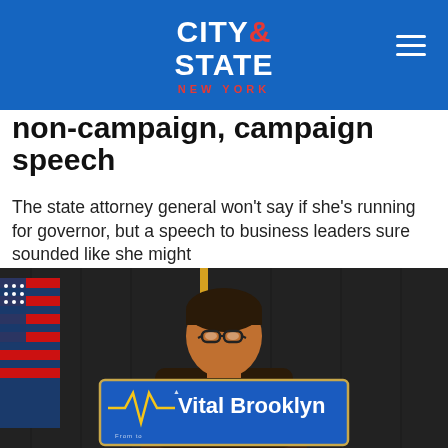CITY & STATE NEW YORK
non-campaign, campaign speech
The state attorney general won't say if she's running for governor, but a speech to business leaders sure sounded like she might
[Figure (photo): A woman with glasses speaking at a podium with a 'Vital Brooklyn' sign in front of her, with an American flag partially visible on the left and a dark curtain background.]